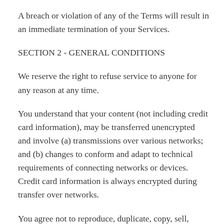A breach or violation of any of the Terms will result in an immediate termination of your Services.
SECTION 2 - GENERAL CONDITIONS
We reserve the right to refuse service to anyone for any reason at any time.
You understand that your content (not including credit card information), may be transferred unencrypted and involve (a) transmissions over various networks; and (b) changes to conform and adapt to technical requirements of connecting networks or devices. Credit card information is always encrypted during transfer over networks.
You agree not to reproduce, duplicate, copy, sell, resell or exploit any portion of the Service, use of the